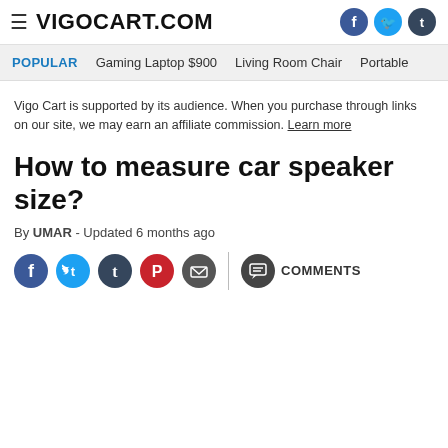VIGOCART.COM
POPULAR   Gaming Laptop $900   Living Room Chair   Portable
Vigo Cart is supported by its audience. When you purchase through links on our site, we may earn an affiliate commission. Learn more
How to measure car speaker size?
By UMAR - Updated 6 months ago
COMMENTS